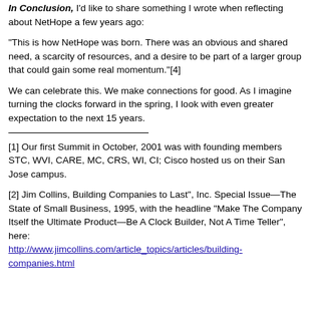In Conclusion, I'd like to share something I wrote when reflecting about NetHope a few years ago:
"This is how NetHope was born. There was an obvious and shared need, a scarcity of resources, and a desire to be part of a larger group that could gain some real momentum."[4]
We can celebrate this. We make connections for good. As I imagine turning the clocks forward in the spring, I look with even greater expectation to the next 15 years.
[1] Our first Summit in October, 2001 was with founding members STC, WVI, CARE, MC, CRS, WI, CI; Cisco hosted us on their San Jose campus.
[2] Jim Collins, Building Companies to Last", Inc. Special Issue—The State of Small Business, 1995, with the headline "Make The Company Itself the Ultimate Product—Be A Clock Builder, Not A Time Teller", here: http://www.jimcollins.com/article_topics/articles/building-companies.html